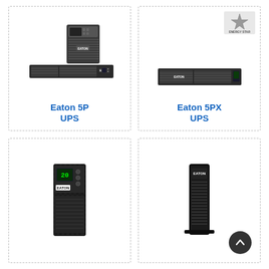[Figure (photo): Eaton 5P UPS product image showing tower and rack-mount form factors in black/grey]
Eaton 5P
UPS
[Figure (photo): Eaton 5PX UPS product image showing rack-mount unit with Energy Star badge]
Eaton 5PX
UPS
[Figure (photo): Eaton UPS tower unit with textured front panel and LCD display]
[Figure (photo): Eaton UPS tower unit, slim black design]